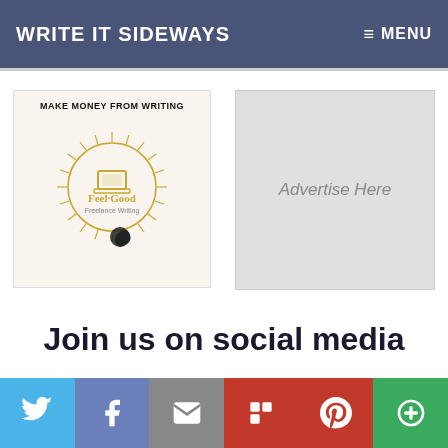WRITE IT SIDEWAYS   ≡ MENU
[Figure (illustration): Make Money From Writing book ad with Feel-Good Freelance Writing circular logo]
[Figure (other): Advertise Here placeholder box]
Join us on social media
[Figure (other): Partial social media icons row (Facebook, Twitter/X, Pinterest, and another icon) cropped at bottom]
[Figure (other): Bottom share bar with Twitter, Facebook, Email, Flipboard, Pinterest, and More buttons]